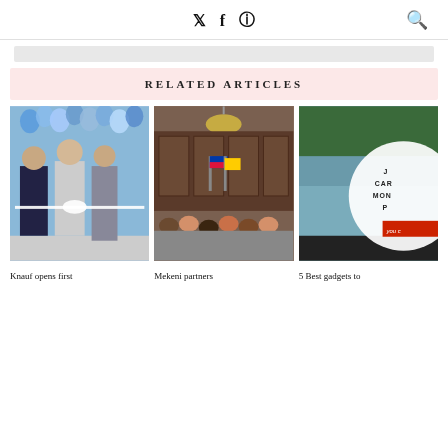Social icons: Twitter, Facebook, Instagram; Search icon
[Figure (other): Gray advertisement bar placeholder]
RELATED ARTICLES
[Figure (photo): Knauf ribbon-cutting event with three people and blue balloons]
[Figure (photo): Mekeni partners event in ornate room with audience and flags]
[Figure (photo): 5 Best gadgets article card with coastal landscape and overlay text]
Knauf opens first
Mekeni partners
5 Best gadgets to